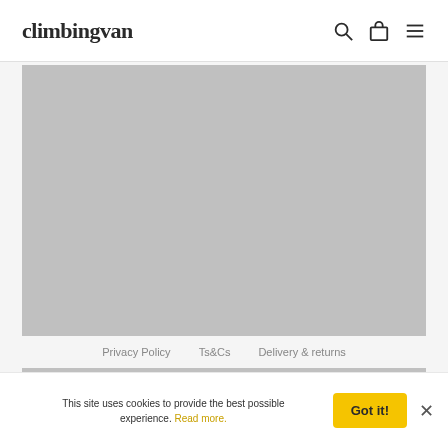climbingvan
[Figure (photo): Grey placeholder image block]
Privacy Policy   Ts&Cs   Delivery & returns
This site uses cookies to provide the best possible experience. Read more.